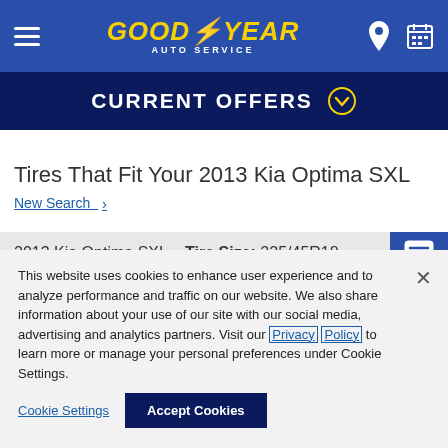Goodyear Auto Service – navigation bar with hamburger menu, logo, location and appointment icons
CURRENT OFFERS
Tires That Fit Your 2013 Kia Optima SXL
New Search >
2013 Kia Optima SXL   Tire Size: 225/45R18
This website uses cookies to enhance user experience and to analyze performance and traffic on our website. We also share information about your use of our site with our social media, advertising and analytics partners. Visit our Privacy Policy to learn more or manage your personal preferences under Cookie Settings.
Cookie Settings   Accept Cookies